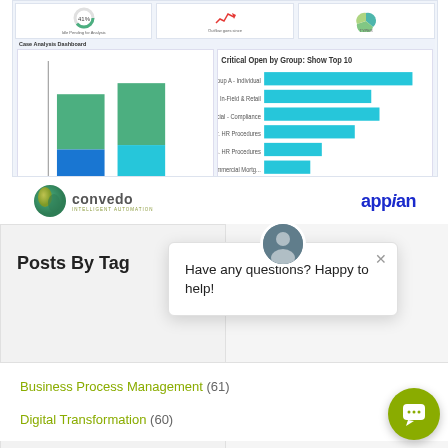[Figure (screenshot): Case Analysis Dashboard screenshot showing stacked bar charts with green and blue segments on left, and horizontal bar chart on right with teal bars. Includes mini KPI cards at top row with a donut chart.]
[Figure (logo): Convedo Intelligent Automation logo - circular green/gold sphere icon with 'convedo' text and 'INTELLIGENT AUTOMATION' tagline]
[Figure (logo): Appian logo in bold blue text]
Posts By Tag
[Figure (other): Chat popup with avatar photo and message: Have any questions? Happy to help!]
Business Process Management (61)
Digital Transformation (60)